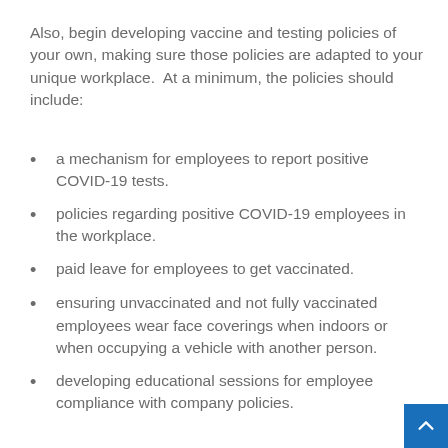Also, begin developing vaccine and testing policies of your own, making sure those policies are adapted to your unique workplace.  At a minimum, the policies should include:
a mechanism for employees to report positive COVID-19 tests.
policies regarding positive COVID-19 employees in the workplace.
paid leave for employees to get vaccinated.
ensuring unvaccinated and not fully vaccinated employees wear face coverings when indoors or when occupying a vehicle with another person.
developing educational sessions for employee compliance with company policies.